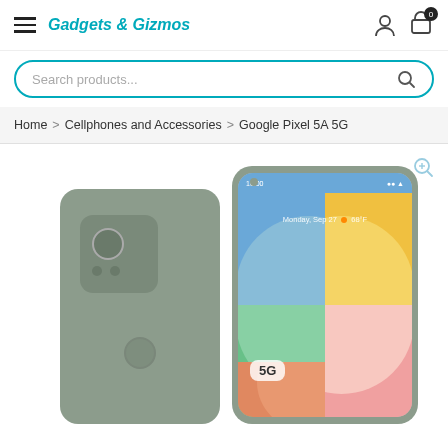Gadgets & Gizmos
Search products...
Home > Cellphones and Accessories > Google Pixel 5A 5G
[Figure (photo): Google Pixel 5A 5G smartphone shown from back and front angles. The back shows the camera module with multiple lenses. The front shows the phone screen with a colorful 2x2 grid wallpaper showing Monday, Sep 27 • 68°F and a 5G badge.]